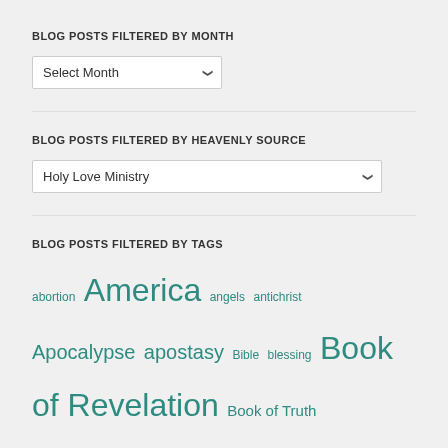BLOG POSTS FILTERED BY MONTH
[Figure (screenshot): Dropdown select box with 'Select Month' placeholder and chevron arrow]
BLOG POSTS FILTERED BY HEAVENLY SOURCE
[Figure (screenshot): Dropdown select box with 'Holy Love Ministry' selected and chevron arrow]
BLOG POSTS FILTERED BY TAGS
abortion America angels antichrist Apocalypse apostasy Bible blessing Book of Revelation Book of Truth Catholic Christian Christianity clergy Commandments of Holy Love Confession conversion